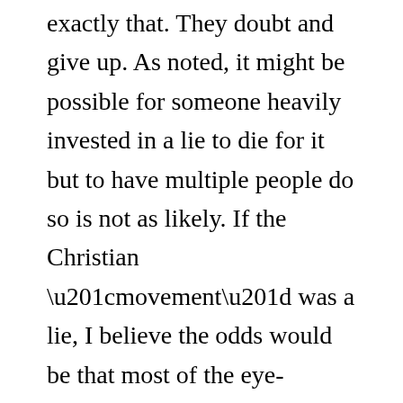exactly that. They doubt and give up. As noted, it might be possible for someone heavily invested in a lie to die for it but to have multiple people do so is not as likely. If the Christian “movement” was a lie, I believe the odds would be that most of the eye-witnesses would find a way to safely walk away when persecution flared up.
Christianity is unique in that multiple first-hand witnesses end up dying for their belief. One may argue that later Christians gave their